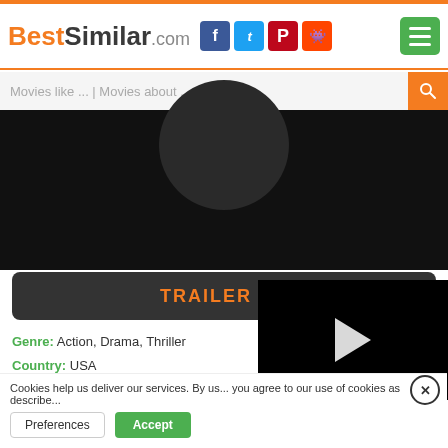BestSimilar.com
Movies like ... | Movies about ...
[Figure (screenshot): Dark video thumbnail with circular shape visible at top]
TRAILER ▶
Genre: Action, Drama, Thriller
Country: USA
Duration: 96 min.
+ Watchlist
Story: A black ops assassin is forced to fight for her own survival after a job goes dangero...
Style: tense, twists and turns, exc...
Cookies help us deliver our services. By us... you agree to our use of cookies as describe...
Preferences  Accept